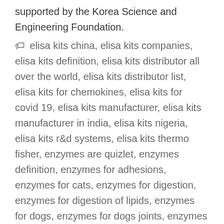supported by the Korea Science and Engineering Foundation.
elisa kits china, elisa kits companies, elisa kits definition, elisa kits distributor all over the world, elisa kits distributor list, elisa kits for chemokines, elisa kits for covid 19, elisa kits manufacturer, elisa kits manufacturer in india, elisa kits nigeria, elisa kits r&d systems, elisa kits thermo fisher, enzymes are quizlet, enzymes definition, enzymes for adhesions, enzymes for cats, enzymes for digestion, enzymes for digestion of lipids, enzymes for dogs, enzymes for dogs joints, enzymes for drain, enzymes for drain pipes, enzymes for fat, enzymes for gluten, enzymes for heart, enzymes for mucus, enzymes